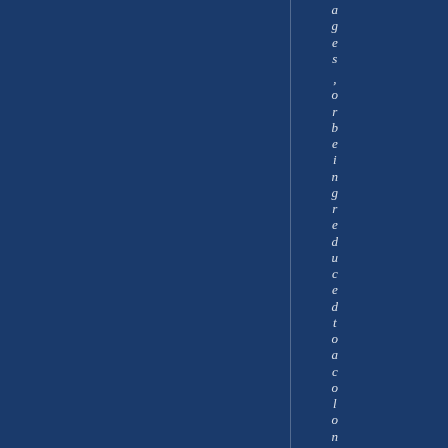ages ,or being reduced to a colonial